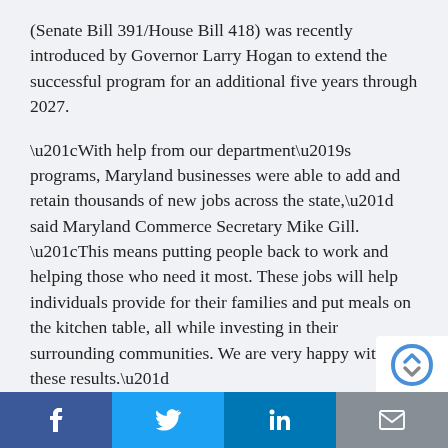(Senate Bill 391/House Bill 418) was recently introduced by Governor Larry Hogan to extend the successful program for an additional five years through 2027.
“With help from our department’s programs, Maryland businesses were able to add and retain thousands of new jobs across the state,” said Maryland Commerce Secretary Mike Gill. “This means putting people back to work and helping those who need it most. These jobs will help individuals provide for their families and put meals on the kitchen table, all while investing in their surrounding communities. We are very happy with these results.”
The state’s Partnership for Workforce Quality program, which provides training grants and support services, a… played a significant role with the state’s workforce
f  [Twitter bird]  in  [envelope]